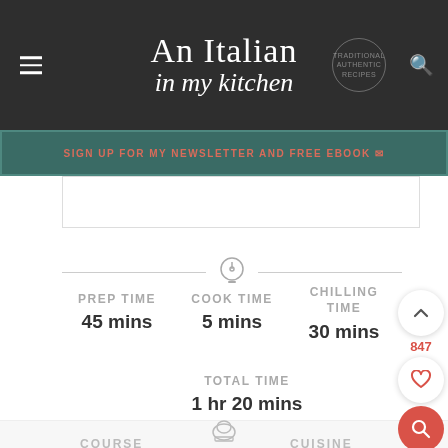An Italian in my kitchen
SIGN UP FOR MY NEWSLETTER AND FREE EBOOK
PREP TIME 45 mins
COOK TIME 5 mins
CHILLING TIME 30 mins
TOTAL TIME 1 hr 20 mins
COURSE
CUISINE